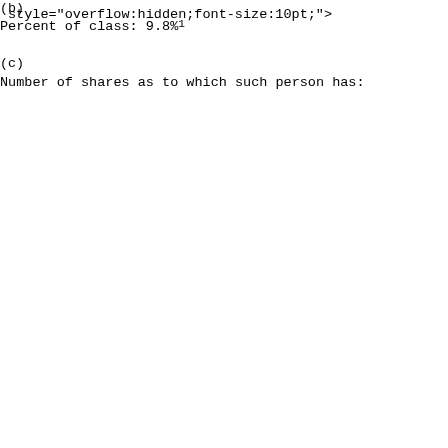style="overflow:hidden;font-size:10pt;"><font style="font-family:inherit;font-size:10pt;">&#160;</font></div></td><td style="vertical-align:top;padding-left:2px;padding-top:2px;padding-bottom:2px;padding-right:2px;"><div style="text-align:justify;font-size:10pt;"><font style="font-family:inherit;font-size:10pt;">(b)</font></div></td><td colspan="2" style="vertical-align:top;padding-left:2px;padding-top:2px;padding-bottom:2px;padding-right:2px;"><div style="text-align:justify;font-size:10pt;"><font style="font-family:inherit;font-size:10pt;">Percent of class: 9.8%</font><font style="font-family:inherit;font-size:10pt;"><sup style="vertical-align:top;line-height:120%;font-size:7pt">1</sup></font></div></td></tr><tr><td style="vertical-align:bottom;padding-left:2px;padding-top:2px;padding-bottom:2px;padding-right:2px;"><div style="overflow:hidden;font-size:10pt;"><font style="font-family:inherit;font-size:10pt;">&#160;</font></div></td><td style="vertical-align:top;padding-left:2px;padding-top:2px;padding-bottom:2px;padding-right:2px;"><div style="text-align:justify;font-size:10pt;"><font style="font-family:inherit;font-size:10pt;">(c)</font></div></td><td colspan="2" style="vertical-align:top;padding-left:2px;padding-top:2px;padding-bottom:2px;padding-right:2px;"><div style="text-align:justify;font-size:10pt;"><font style="font-family:inherit;font-size:10pt;">Number of shares as to which such person has:</font></div></td></tr><tr><td style="vertical-